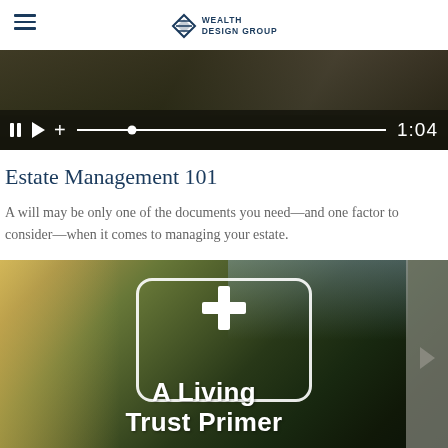Wealth Design Group
[Figure (screenshot): Video player with dark background showing playback controls: pause button, play button, plus icon, progress bar, and timer showing 1:04]
Estate Management 101
A will may be only one of the documents you need—and one factor to consider—when it comes to managing your estate.
[Figure (photo): Outdoor photo of children playing with water guns in a sunny garden, overlaid with a white plus sign, a rounded rectangle frame, and bold white text reading 'A Living Trust Primer']